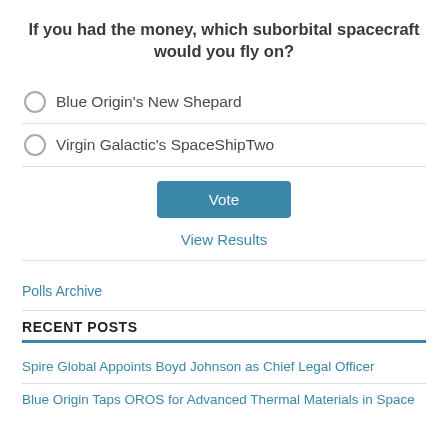If you had the money, which suborbital spacecraft would you fly on?
Blue Origin's New Shepard
Virgin Galactic's SpaceShipTwo
Vote
View Results
Polls Archive
RECENT POSTS
Spire Global Appoints Boyd Johnson as Chief Legal Officer
Blue Origin Taps OROS for Advanced Thermal Materials in Space